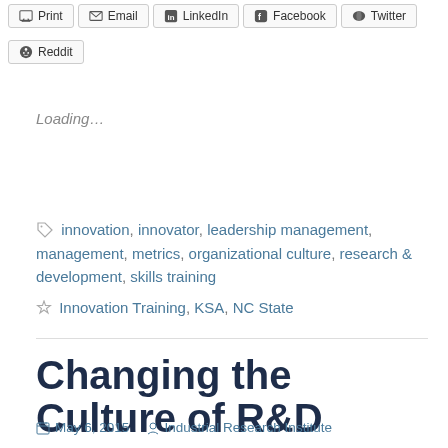[Figure (other): Share buttons row: Print, Email, LinkedIn, Facebook, Twitter]
[Figure (other): Reddit share button]
Loading...
innovation, innovator, leadership management, management, metrics, organizational culture, research & development, skills training
Innovation Training, KSA, NC State
Changing the Culture of R&D
May 6, 2015   Industrial Research Institute